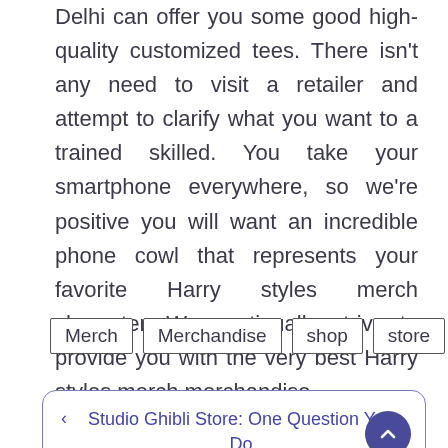Delhi can offer you some good high-quality customized tees. There isn't any need to visit a retailer and attempt to clarify what you want to a trained skilled. You take your smartphone everywhere, so we're positive you will want an incredible phone cowl that represents your favorite Harry styles merch character. We continually strive to provide you with the very best Harry styles merch merchandise.
Merch
Merchandise
shop
store
< Studio Ghibli Store: One Question You Do Not